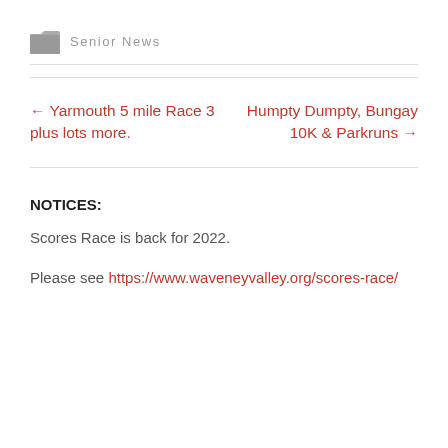Senior News
← Yarmouth 5 mile Race 3 plus lots more.
Humpty Dumpty, Bungay 10K & Parkruns →
NOTICES:
Scores Race is back for 2022.
Please see https://www.waveneyvalley.org/scores-race/